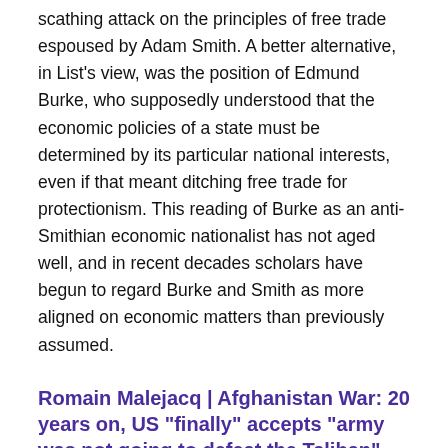scathing attack on the principles of free trade espoused by Adam Smith. A better alternative, in List's view, was the position of Edmund Burke, who supposedly understood that the economic policies of a state must be determined by its particular national interests, even if that meant ditching free trade for protectionism. This reading of Burke as an anti-Smithian economic nationalist has not aged well, and in recent decades scholars have begun to regard Burke and Smith as more aligned on economic matters than previously assumed.
Romain Malejacq | Afghanistan War: 20 years on, US "finally" accepts "army was not going to defeat the Taliban"
September 2, 2021 – from France 24 News
Joining France 24 is Dr. Romain Malejacq, Professor at the Centre for International Conflict Analysis and